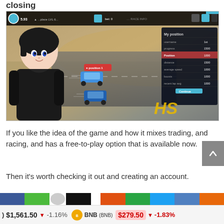closing
[Figure (screenshot): Screenshot of a racing/trading game interface showing an anime-style avatar character on the left, top HUD bar with game stats, a racing track view with two blue cars, a data panel on the right side, and an HS logo watermark.]
If you like the idea of the game and how it mixes trading, and racing, and has a free-to-play option that is available now.
Then it's worth checking it out and creating an account.
[Figure (infographic): Social share buttons bar with blue, green, black, orange, green, blue, and orange colored buttons.]
) $1,561.50  ▼  -1.16%  BNB (BNB)  $279.50  ▼  -1.83%